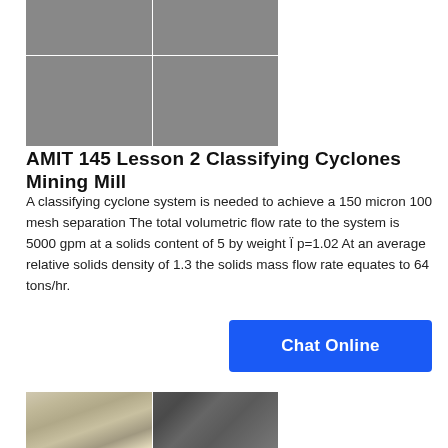[Figure (photo): Grid of four mining/industrial facility photographs showing equipment and plant structures]
AMIT 145 Lesson 2 Classifying Cyclones Mining Mill
A classifying cyclone system is needed to achieve a 150 micron 100 mesh separation The total volumetric flow rate to the system is 5000 gpm at a solids content of 5 by weight Ï p=1.02 At an average relative solids density of 1.3 the solids mass flow rate equates to 64 tons/hr.
[Figure (other): Blue Chat Online button]
[Figure (photo): Grid of industrial/mining equipment photographs showing cyclone separators and mill components]